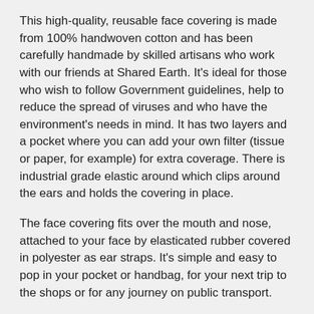This high-quality, reusable face covering is made from 100% handwoven cotton and has been carefully handmade by skilled artisans who work with our friends at Shared Earth. It's ideal for those who wish to follow Government guidelines, help to reduce the spread of viruses and who have the environment's needs in mind. It has two layers and a pocket where you can add your own filter (tissue or paper, for example) for extra coverage. There is industrial grade elastic around which clips around the ears and holds the covering in place.
The face covering fits over the mouth and nose, attached to your face by elasticated rubber covered in polyester as ear straps. It's simple and easy to pop in your pocket or handbag, for your next trip to the shops or for any journey on public transport.
For the highest safety precautions, ensure that you remove from your face using the ear loops and clean any surfaces the covering may have touched. We advise that you wash hands before putting on, as well as after use, and avoid touching the front of the covering where possible. Please note that this face covering is intended to provide some level of protection against the transmission of viruses to people within a close proximity. It